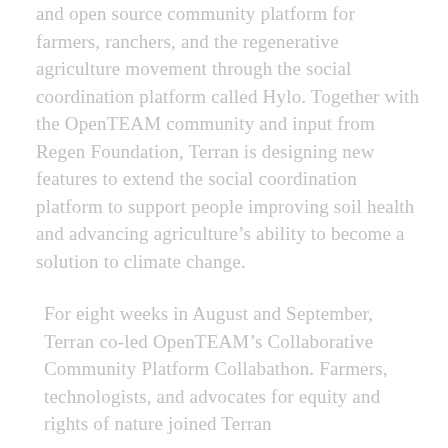and open source community platform for farmers, ranchers, and the regenerative agriculture movement through the social coordination platform called Hylo. Together with the OpenTEAM community and input from Regen Foundation, Terran is designing new features to extend the social coordination platform to support people improving soil health and advancing agriculture's ability to become a solution to climate change.
For eight weeks in August and September, Terran co-led OpenTEAM's Collaborative Community Platform Collabathon. Farmers, technologists, and advocates for equity and rights of nature joined Terran…